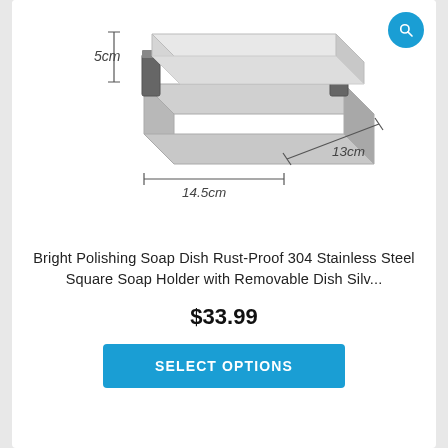[Figure (photo): Chrome stainless steel square soap dish holder with frosted glass/white soap tray, shown with dimension annotations: 5cm height, 14.5cm width, 13cm depth. A blue search icon button is in the top-right corner.]
Bright Polishing Soap Dish Rust-Proof 304 Stainless Steel Square Soap Holder with Removable Dish Silv...
$33.99
SELECT OPTIONS